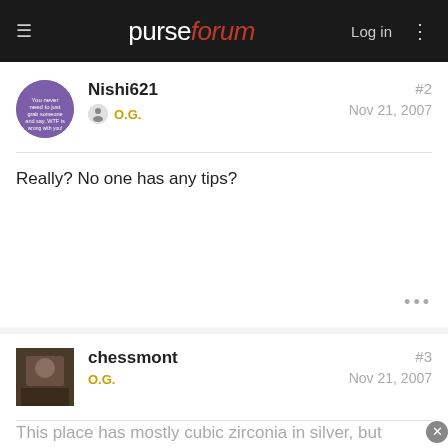purseforum  Log in
Nishi621  O.G.  #2  Nov 21, 2007
Really? No one has any tips?
chessmont  O.G.  #3  Nov 21, 2007
This place has mostly cubic zirconia in silver, but maybe there is something you like there. I have bought from them, they are reputable.
omitations.com